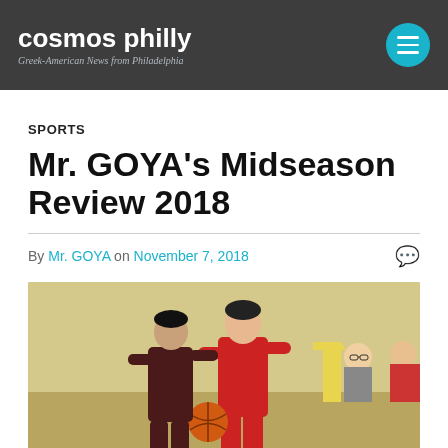cosmos philly — Greek-American News from Philadelphia
SPORTS
Mr. GOYA's Midseason Review 2018
By Mr. GOYA on November 7, 2018
[Figure (photo): Two basketball players competing for the ball during an indoor game. One player in a dark maroon jersey attempts to guard a taller player in red. Two spectators sit in the background near a yellow wet floor sign.]